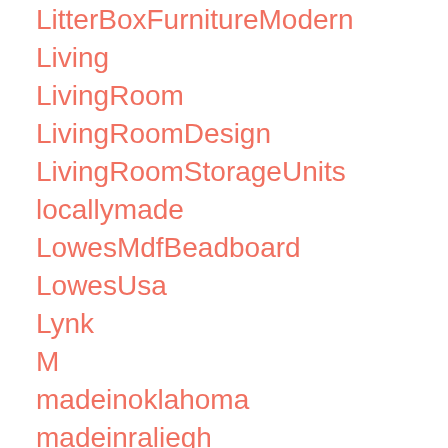LitterBoxFurnitureModern
Living
LivingRoom
LivingRoomDesign
LivingRoomStorageUnits
locallymade
LowesMdfBeadboard
LowesUsa
Lynk
M
madeinoklahoma
madeinraliegh
madewithlove
MagicEraserTricks
MagnifyingDiamondGlas